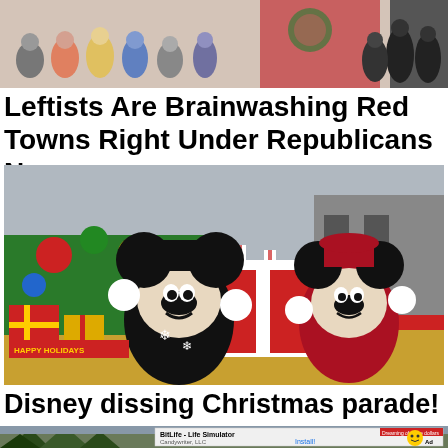[Figure (photo): Partial image showing a crowd of people standing in line, with colorful clothing visible against a reddish/pink background. Image is cropped at top.]
Leftists Are Brainwashing Red Towns Right Under Republicans Noses
[Figure (photo): Photo of Mickey Mouse and Minnie Mouse characters in Christmas holiday parade costumes at Disney, with festive decorations including candy canes, gift boxes, and a decorated float in the background.]
Disney dissing Christmas parade!
[Figure (photo): Partial photo showing trees against a grey sky, with an advertisement overlay for BitLife - Life Simulator by Candywriter, LLC with an Install button.]